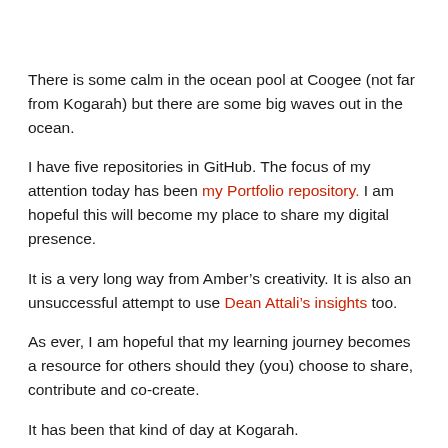There is some calm in the ocean pool at Coogee (not far from Kogarah) but there are some big waves out in the ocean.
I have five repositories in GitHub. The focus of my attention today has been my Portfolio repository. I am hopeful this will become my place to share my digital presence.
It is a very long way from Amber’s creativity. It is also an unsuccessful attempt to use Dean Attali’s insights too.
As ever, I am hopeful that my learning journey becomes a resource for others should they (you) choose to share, contribute and co-create.
It has been that kind of day at Kogarah.
Photo Credits